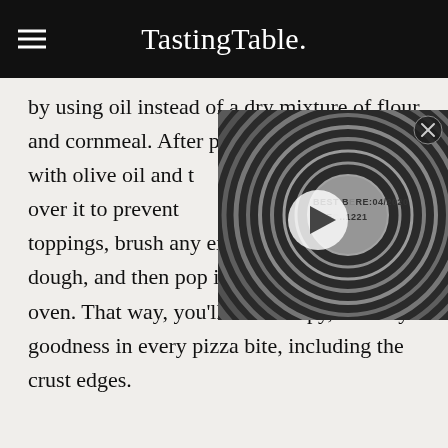TastingTable.
by using oil instead of a dry mixture of flour and cornmeal. After preheating the skillet with olive oil and then stretching the dough over it to prevent sticking. After adding toppings, brush any exposed edges of the dough, and then pop it right back into the oven. That way, you'll have crispy, crunchy goodness in every pizza bite, including the crust edges.
[Figure (screenshot): Video overlay showing a close-up of a tin can lid with text 'BEST BEFORE: 04/2020 EC..1221', with a play button overlaid, and a close button (X) in the top right corner.]